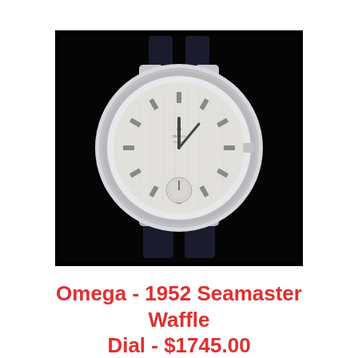[Figure (photo): Photograph of an Omega 1952 Seamaster Waffle Dial wristwatch with a silver case, white dial with baton hour markers, sub-seconds dial at 6 o'clock, and a dark navy/black leather strap, displayed on a black background.]
Omega - 1952 Seamaster Waffle Dial - $1745.00
Omega - 1952 Seamaster Waffle Dial